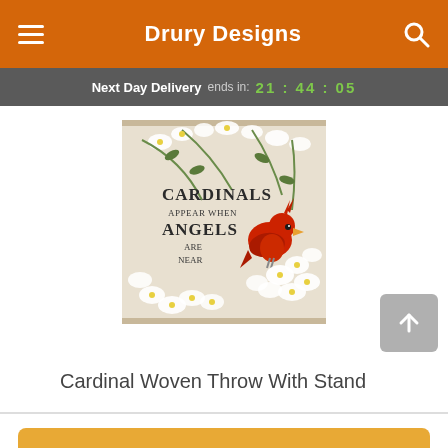Drury Designs
Next Day Delivery ends in: 21:44:05
[Figure (photo): A woven throw blanket with a red cardinal bird perched on white dogwood flowers. Text on the throw reads: CARDINALS APPEAR WHEN ANGELS ARE NEAR]
Cardinal Woven Throw With Stand
Start Order